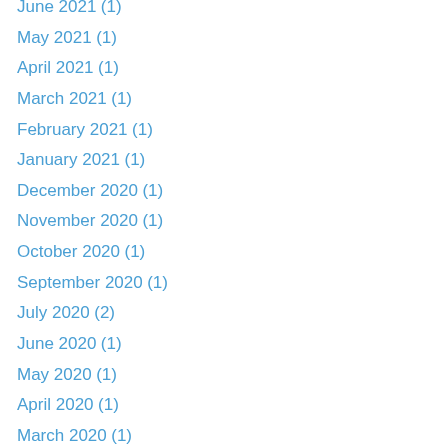June 2021 (1)
May 2021 (1)
April 2021 (1)
March 2021 (1)
February 2021 (1)
January 2021 (1)
December 2020 (1)
November 2020 (1)
October 2020 (1)
September 2020 (1)
July 2020 (2)
June 2020 (1)
May 2020 (1)
April 2020 (1)
March 2020 (1)
February 2020 (1)
January 2020 (1)
December 2019 (1)
November 2019 (1)
October 2019 (1)